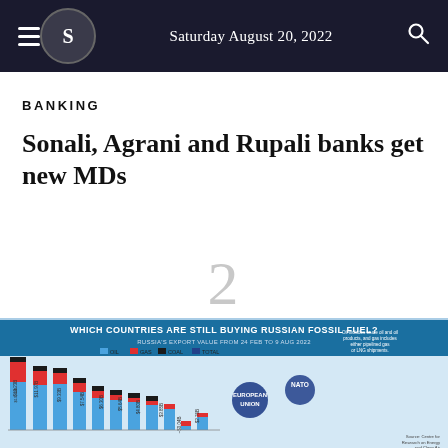Saturday August 20, 2022
BANKING
Sonali, Agrani and Rupali banks get new MDs
2
[Figure (infographic): Infographic: Which Countries Are Still Buying Russian Fossil Fuel? Russia's export value from 24 Feb to 9 Aug 2022. Shows bar chart with Oil, Gas, Coal, Total values for various countries/regions including European Union, NATO. Values shown: $14.43B, $19.72B, $12.23B, $11.97B, $9.33B, $7.54B, $6.30B, $5.64B, $4.80B, $3.85B, ~$0.04B, $2.76B. Source: Centre for Research on Energy and Clean Air.]